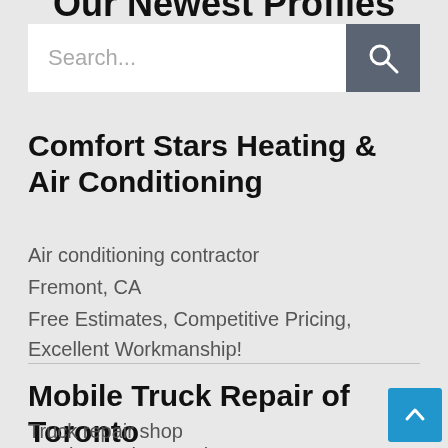Our Newest Profiles
[Figure (screenshot): Search bar with text input field showing placeholder 'Search...' and a dark grey search button with magnifying glass icon]
Comfort Stars Heating & Air Conditioning
Air conditioning contractor
Fremont, CA
Free Estimates, Competitive Pricing, Excellent Workmanship!
Mobile Truck Repair of Toronto
Truck repair shop
Scarborough, Ontario